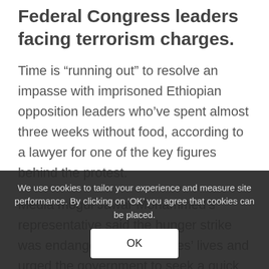Federal Congress leaders facing terrorism charges.
Time is “running out” to resolve an impasse with imprisoned Ethiopian opposition leaders who’ve spent almost three weeks without food, according to a lawyer for one of the key figures behind the protest.
Media mogul Jawar Mohammed’s representative said the hunger strike was endangering the inmates’ lives and urged the government to seek a quick solution.
“We are running out of time,” said lawyer Kedir Bulo. “All concerned parties are advised to think judiciously and take action to resolve the cause of the hunger strike.”
We use cookies to tailor your experience and measure site performance. By clicking on ‘OK’ you agree that cookies can be placed.